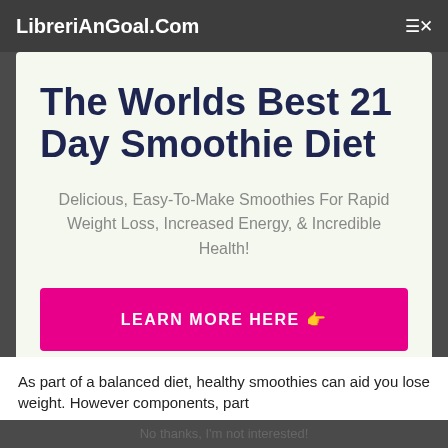LibreriAnGoal.Com
The Worlds Best 21 Day Smoothie Diet
Delicious, Easy-To-Make Smoothies For Rapid Weight Loss, Increased Energy, & Incredible Health!
LEARN MORE HERE 👉
As part of a balanced diet, healthy smoothies can aid you lose weight. However components, part
No thanks, I'm not interested!